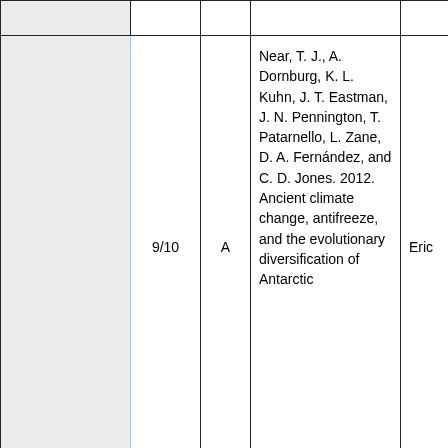|  | Score | Grade | Reference |  |
| --- | --- | --- | --- | --- |
|  | 9/10 | A | Near, T. J., A. Dornburg, K. L. Kuhn, J. T. Eastman, J. N. Pennington, T. Patarnello, L. Zane, D. A. Fernández, and C. D. Jones. 2012. Ancient climate change, antifreeze, and the evolutionary diversification of Antarctic | Eric |